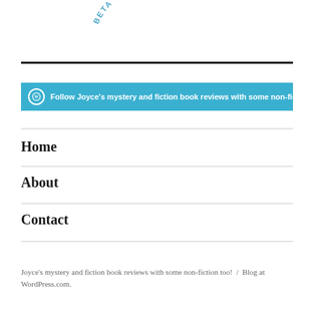[Figure (logo): Beta Tester arc text logo in blue]
[Figure (other): WordPress follow button bar: Follow Joyce's mystery and fiction book reviews with some non-fiction]
Home
About
Contact
Joyce's mystery and fiction book reviews with some non-fiction too! / Blog at WordPress.com.